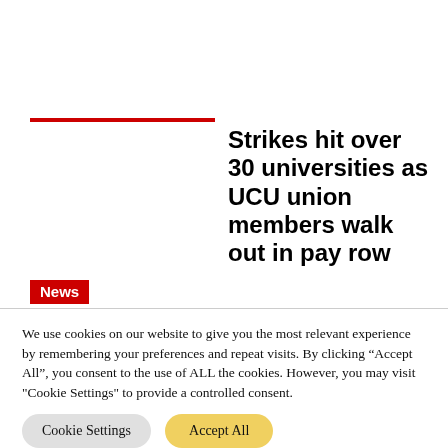Strikes hit over 30 universities as UCU union members walk out in pay row
News
We use cookies on our website to give you the most relevant experience by remembering your preferences and repeat visits. By clicking "Accept All", you consent to the use of ALL the cookies. However, you may visit "Cookie Settings" to provide a controlled consent.